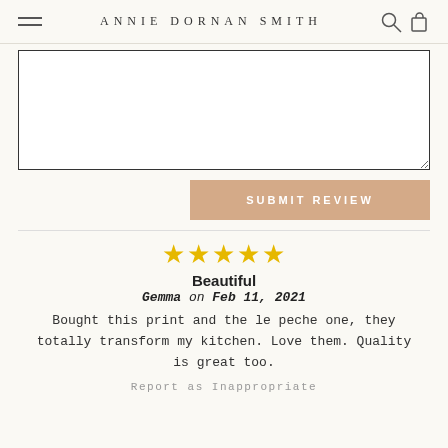ANNIE DORNAN SMITH
[Figure (screenshot): Empty textarea form input box with resize handle]
SUBMIT REVIEW
[Figure (other): Five gold star rating icons]
Beautiful
Gemma on Feb 11, 2021
Bought this print and the le peche one, they totally transform my kitchen. Love them. Quality is great too.
Report as Inappropriate